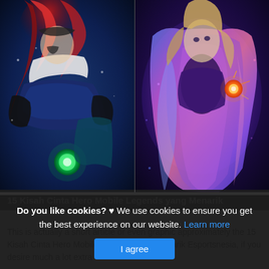[Figure (illustration): Two Mobile Legends game characters side by side: left side shows a female hero in dark blue/teal outfit with red hair, right side shows a purple-cape hero with colorful magical effects]
15 Kisah Cinta Hero Mobile Legends yang Menarik
This is actually a short article or even graphic approximately the 15 Kisah Cinta Hero Mobile Legends yang Menarik Esportsnesia, if you desire much a lot extra
Do you like cookies? ♥ We use cookies to ensure you get the best experience on our website. Learn more
I agree